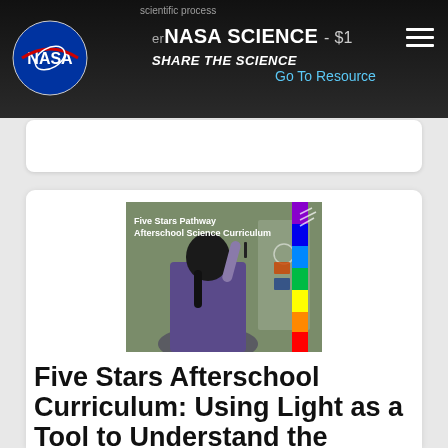scientific process
NASA SCIENCE - $1 SHARE THE SCIENCE
Go To Resource
[Figure (photo): Photo of a person writing on a whiteboard next to an electromagnetic spectrum chart, with the label 'Five Stars Pathway Afterschool Science Curriculum' overlaid on the image.]
Five Stars Afterschool Curriculum: Using Light as a Tool to Understand the Electromagnetic Spectrum
This afterschool curriculum includes six lessons